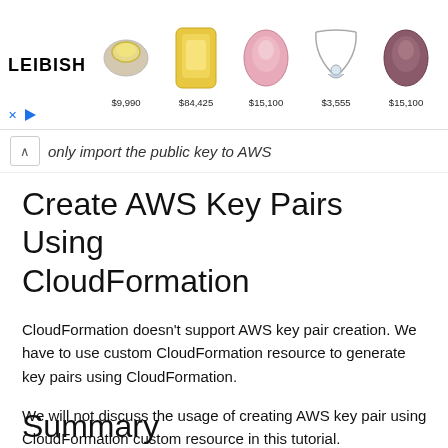[Figure (other): Advertisement banner for LEIBISH jewelry showing 5 gemstone/jewelry products with prices: $9,990 (ring), $84,425 (yellow gemstone), $15,100 (pink oval gemstone), $3,555 (necklace), $15,100 (dark gemstone)]
only import the public key to AWS
Create AWS Key Pairs Using CloudFormation
CloudFormation doesn't support AWS key pair creation. We have to use custom CloudFormation resource to generate key pairs using CloudFormation.
We will not discuss the usage of creating AWS key pair using CloudFormation custom resource in this tutorial.
Summary